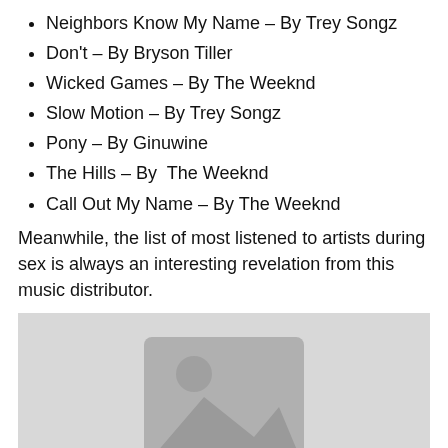Neighbors Know My Name – By Trey Songz
Don't – By Bryson Tiller
Wicked Games – By The Weeknd
Slow Motion – By Trey Songz
Pony – By Ginuwine
The Hills – By  The Weeknd
Call Out My Name – By The Weeknd
Meanwhile, the list of most listened to artists during sex is always an interesting revelation from this music distributor.
[Figure (photo): Placeholder image with a generic image icon (mountain/landscape silhouette with sun) on a light grey background]